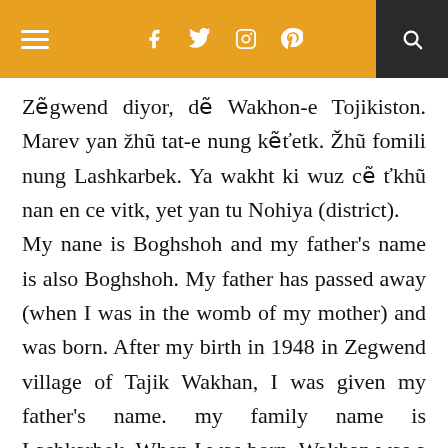navigation header with hamburger menu, social icons (f, twitter, instagram, pinterest), and search
Zẽgwend diyor, dẽ Wakhon-e Tojikiston. Marev yan žhũ tat-e nung kẽťetk. Žhũ fomili nung Lashkarbek. Ya wakht ki wuz cẽ ťkhũ nan en ce vitk, yet yan tu Nohiya (district). My nane is Boghshoh and my father's name is also Boghshoh. My father has passed away (when I was in the womb of my mother) and was born. After my birth in 1948 in Zegwend village of Tajik Wakhan, I was given my father's name. my family name is Lashkarbek. When I was born, Wakhan was a district.